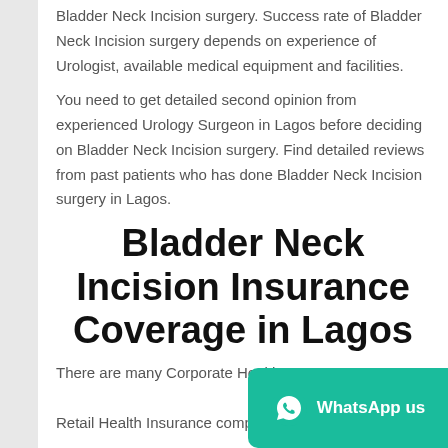Bladder Neck Incision surgery. Success rate of Bladder Neck Incision surgery depends on experience of Urologist, available medical equipment and facilities.
You need to get detailed second opinion from experienced Urology Surgeon in Lagos before deciding on Bladder Neck Incision surgery. Find detailed reviews from past patients who has done Bladder Neck Incision surgery in Lagos.
Bladder Neck Incision Insurance Coverage in Lagos
There are many Corporate Health Retail Health Insurance companies assistance for Bladder Neck Incision in Lagos.